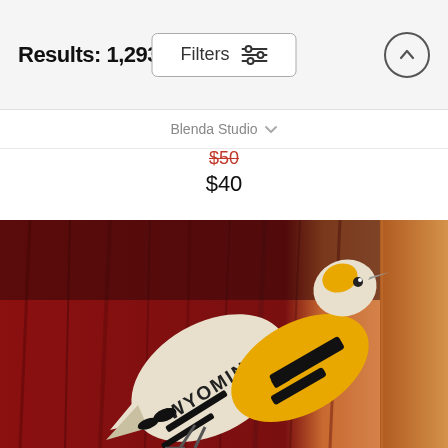Results: 1,293
Filters
Blenda Studio
$50  $40
[Figure (photo): Artwork product photo showing a bird made from Wyoming license plates mounted on a red rustic wood board. The bird figure is composed of white and yellow license plates with black lettering spelling WYOMING, forming the body of a meadowlark-style bird against a dark red distressed wood background with a light natural wood edge visible on the right side.]